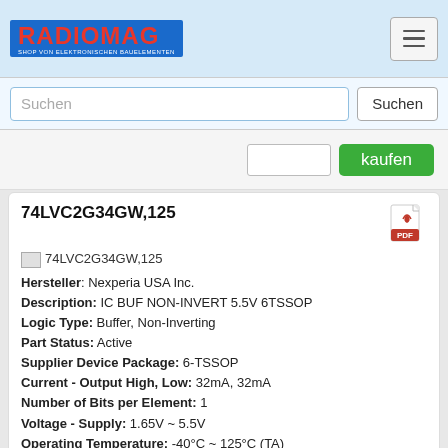RADIOMAG - SHOP VON ELEKTRONISCHEN BAUELEMENTEN
Suchen
[Figure (screenshot): kaufen button with quantity input]
74LVC2G34GW,125
Hersteller: Nexperia USA Inc.
Description: IC BUF NON-INVERT 5.5V 6TSSOP
Logic Type: Buffer, Non-Inverting
Part Status: Active
Supplier Device Package: 6-TSSOP
Current - Output High, Low: 32mA, 32mA
Number of Bits per Element: 1
Voltage - Supply: 1.65V ~ 5.5V
Operating Temperature: -40°C ~ 125°C (TA)
Number of Elements: 2
Mounting Type: Surface Mount
Output Type: Push-Pull
Package / Case: 6-TSSOP, SC-88, SOT-363
Packaging: Tape & Reel (TR)
Produkt ist nicht verfügbar, Sie können Anfrage senden wenn Sie Produkt in den Warenkorb hinzufügen